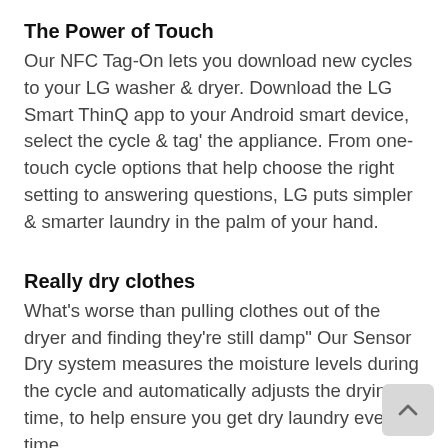The Power of Touch
Our NFC Tag-On lets you download new cycles to your LG washer & dryer. Download the LG Smart ThinQ app to your Android smart device, select the cycle & tag' the appliance. From one-touch cycle options that help choose the right setting to answering questions, LG puts simpler & smarter laundry in the palm of your hand.
Really dry clothes
What's worse than pulling clothes out of the dryer and finding they're still damp" Our Sensor Dry system measures the moisture levels during the cycle and automatically adjusts the drying time, to help ensure you get dry laundry every time.
Get wise
If you ever experience an issue with your LG dryer, you don't have to worry. The